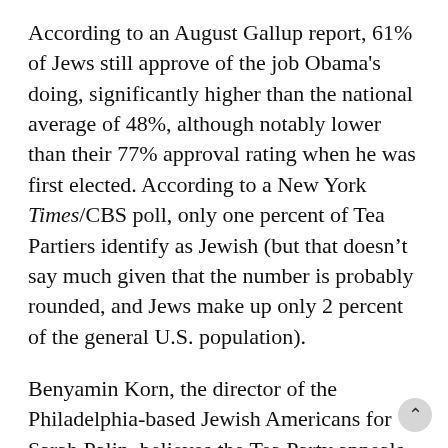According to an August Gallup report, 61% of Jews still approve of the job Obama's doing, significantly higher than the national average of 48%, although notably lower than their 77% approval rating when he was first elected. According to a New York Times/CBS poll, only one percent of Tea Partiers identify as Jewish (but that doesn't say much given that the number is probably rounded, and Jews make up only 2 percent of the general U.S. population).
Benyamin Korn, the director of the Philadelphia-based Jewish Americans for Sarah Palin, believes the Tea Party appeals to three types of Jews: fiscal conservatives, Democrats disaffected with Obama and Orthodox Jews. Polls showed a whopping 78